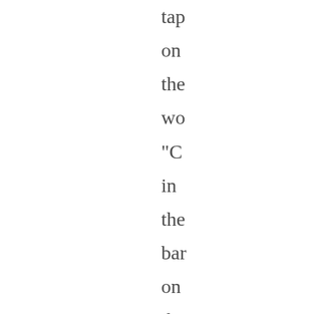tap on the wo "C in the bar on the lef to sel oth sou Th lan par on